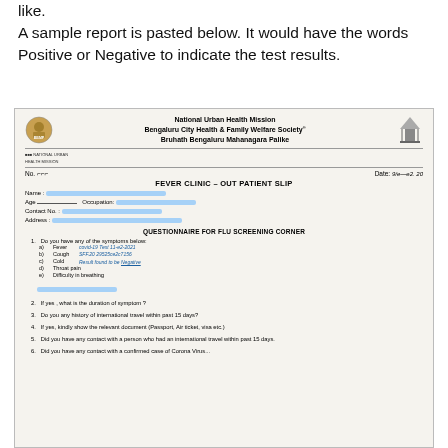like.
A sample report is pasted below. It would have the words Positive or Negative to indicate the test results.
[Figure (photo): A photograph of a National Urban Health Mission Fever Clinic Out Patient Slip from Bengaluru City Health & Family Welfare Society, Bruhath Bengaluru Mahanagara Palike. The form contains personal information (redacted with blue bars) and a questionnaire for flu screening corner with fields for symptoms, travel history, and contact with confirmed COVID-19 cases. Handwritten notes indicate a COVID-19 test result found to be Negative.]